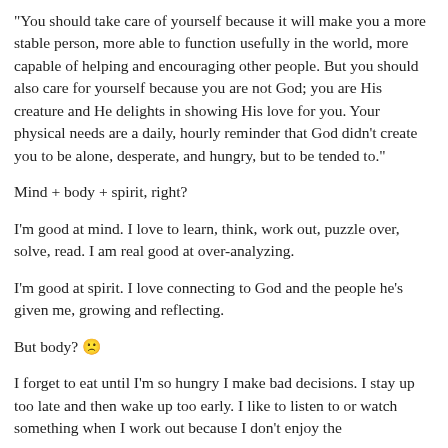"You should take care of yourself because it will make you a more stable person, more able to function usefully in the world, more capable of helping and encouraging other people. But you should also care for yourself because you are not God; you are His creature and He delights in showing His love for you. Your physical needs are a daily, hourly reminder that God didn't create you to be alone, desperate, and hungry, but to be tended to."
Mind + body + spirit, right?
I'm good at mind. I love to learn, think, work out, puzzle over, solve, read. I am real good at over-analyzing.
I'm good at spirit. I love connecting to God and the people he's given me, growing and reflecting.
But body? 🙁
I forget to eat until I'm so hungry I make bad decisions. I stay up too late and then wake up too early. I like to listen to or watch something when I work out because I don't enjoy the